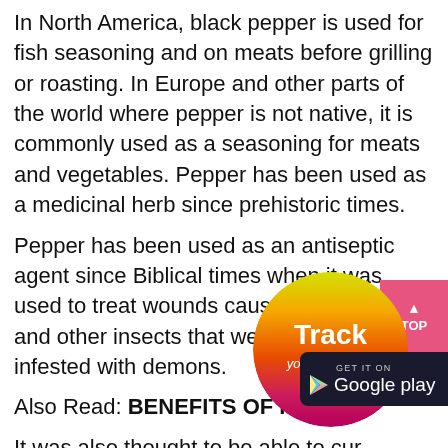In North America, black pepper is used for fish seasoning and on meats before grilling or roasting. In Europe and other parts of the world where pepper is not native, it is commonly used as a seasoning for meats and vegetables. Pepper has been used as a medicinal herb since prehistoric times.
Pepper has been used as an antiseptic agent since Biblical times when it was used to treat wounds caused by scorpions and other insects that were believed to be infested with demons.
Also Read: BENEFITS OF KALI M...
It was also thought to be able to cure ailments such as dysentery and diarrhea, however this claim was... In addition to being an antiseptic agent, it has been
[Figure (other): Pink 'TOP' scroll-to-top button in top-right area]
[Figure (other): Circular 'Track your order' button with multicolor gradient (yellow, orange, red, pink)]
[Figure (other): Google Play store download button (dark background)]
[Figure (other): WhatsApp Chat button (green background)]